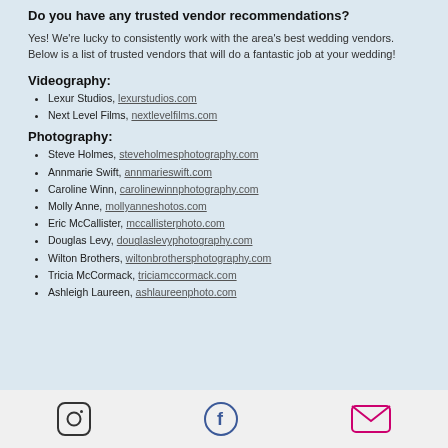Do you have any trusted vendor recommendations?
Yes! We're lucky to consistently work with the area's best wedding vendors. Below is a list of trusted vendors that will do a fantastic job at your wedding!
Videography:
Lexur Studios, lexurstudios.com
Next Level Films, nextlevelfilms.com
Photography:
Steve Holmes, steveholmesphotography.com
Annmarie Swift, annmarieswift.com
Caroline Winn, carolinewinnphotography.com
Molly Anne, mollyanneshotos.com
Eric McCallister, mccallisterphoto.com
Douglas Levy, douglaslevyphotography.com
Wilton Brothers, wiltonbrothersphotography.com
Tricia McCormack, triciamccormack.com
Ashleigh Laureen, ashlaureenphoto.com
Instagram | Facebook | Email icons